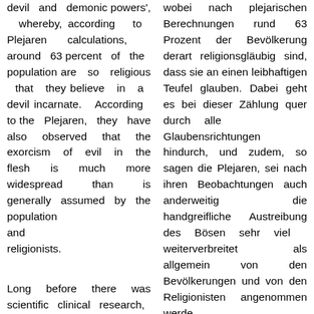devil and demonic powers', whereby, according to Plejaren calculations, around 63 percent of the population are so religious that they believe in a devil incarnate. According to the Plejaren, they have also observed that the exorcism of evil in the flesh is much more widespread than is generally assumed by the population and religionists.
wobei nach plejarischen Berechnungen rund 63 Prozent der Bevölkerung derart religionsgläubig sind, dass sie an einen leibhaftigen Teufel glauben. Dabei geht es bei dieser Zählung quer durch alle Glaubensrichtungen hindurch, und zudem, so sagen die Plejaren, sei nach ihren Beobachtungen auch anderweitig die handgreifliche Austreibung des Bösen sehr viel weiterverbreitet als allgemein von den Bevölkerungen und von den Religionisten angenommen werde.
Long before there was scientific clinical research,
Lange bevor es eine wissenschaftliche klinische Forschung gab, so haben